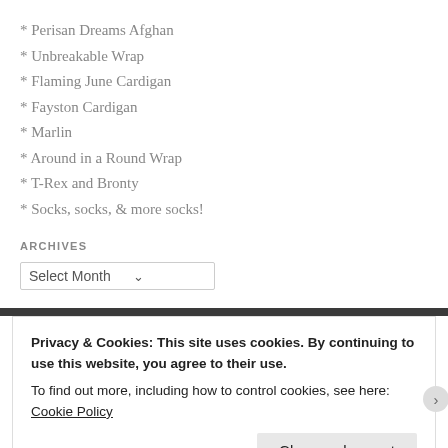* Perisan Dreams Afghan
* Unbreakable Wrap
* Flaming June Cardigan
* Fayston Cardigan
* Marlin
* Around in a Round Wrap
* T-Rex and Bronty
* Socks, socks, & more socks!
ARCHIVES
Select Month
Privacy & Cookies: This site uses cookies. By continuing to use this website, you agree to their use.
To find out more, including how to control cookies, see here: Cookie Policy
Close and accept